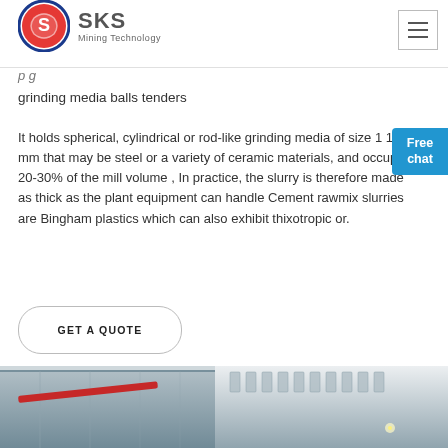SKS Mining Technology
grinding media balls tenders
It holds spherical, cylindrical or rod-like grinding media of size 1 100 mm that may be steel or a variety of ceramic materials, and occupy 20-30% of the mill volume , In practice, the slurry is therefore made as thick as the plant equipment can handle Cement rawmix slurries are Bingham plastics which can also exhibit thixotropic or.
GET A QUOTE
[Figure (photo): Industrial building interior/exterior with red pipes and windows, industrial mining facility]